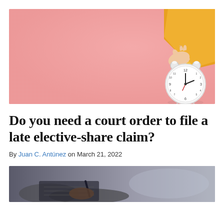[Figure (photo): A hand wearing a yellow sleeve holding a white alarm clock against a pink background]
Do you need a court order to file a late elective-share claim?
By Juan C. Antúnez on March 21, 2022
[Figure (photo): A person writing in a notebook, partial view showing hands and a blurred background]